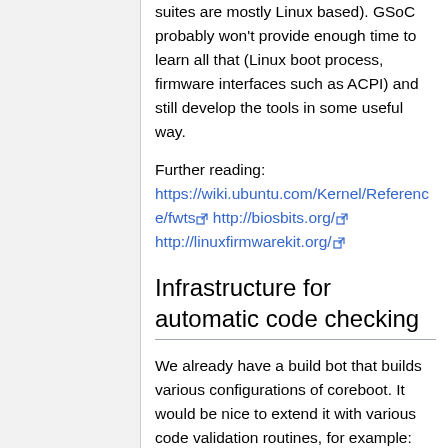suites are mostly Linux based). GSoC probably won't provide enough time to learn all that (Linux boot process, firmware interfaces such as ACPI) and still develop the tools in some useful way.
Further reading: https://wiki.ubuntu.com/Kernel/Reference/fwts http://biosbits.org/ http://linuxfirmwarekit.org/
Infrastructure for automatic code checking
We already have a build bot that builds various configurations of coreboot. It would be nice to extend it with various code validation routines, for example:
Validate that there's no regression in doxygen documentation (eg. are all